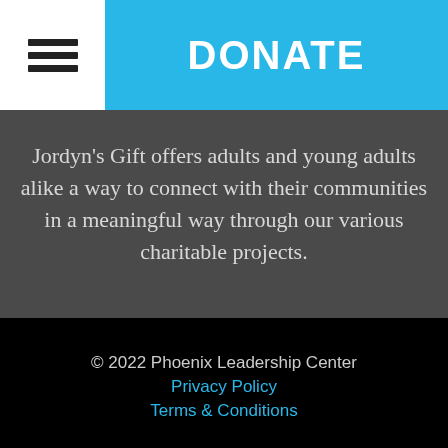DONATE
Jordyn's Gift offers adults and young adults alike a way to connect with their communities in a meaningful way through our various charitable projects.
© 2022 Phoenix Leadership Center
Privacy Policy
Terms & Conditions
Powered by Firespring